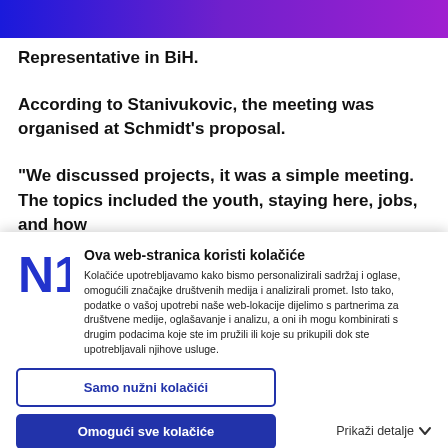Representative in BiH.
According to Stanivukovic, the meeting was organised at Schmidt's proposal.
“We discussed projects, it was a simple meeting. The topics included the youth, staying here, jobs, and how
Ova web-stranica koristi kolačiće
Kolačiće upotrebljavamo kako bismo personalizirali sadržaj i oglase, omogućili značajke društvenih medija i analizirali promet. Isto tako, podatke o vašoj upotrebi naše web-lokacije dijelimo s partnerima za društvene medije, oglašavanje i analizu, a oni ih mogu kombinirati s drugim podacima koje ste im pružili ili koje su prikupili dok ste upotrebljavali njihove usluge.
Samo nužni kolačići
Omugući sve kolačiće
Prikaži detalje